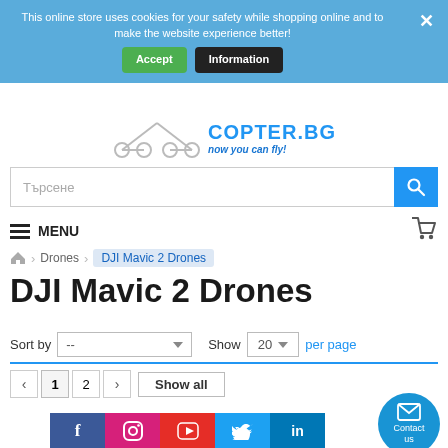This online store uses cookies for your safety while shopping online and to make the website experience better!
[Figure (logo): Copter.bg drone store logo with scissors and lines graphic, text 'now you can fly!']
Търсене
MENU
🏠 > Drones > DJI Mavic 2 Drones
DJI Mavic 2 Drones
Sort by  --  Show 20 per page
< 1 2 > Show all
[Figure (other): Social media icons row: Facebook, Instagram, YouTube, Twitter, LinkedIn]
Contact us